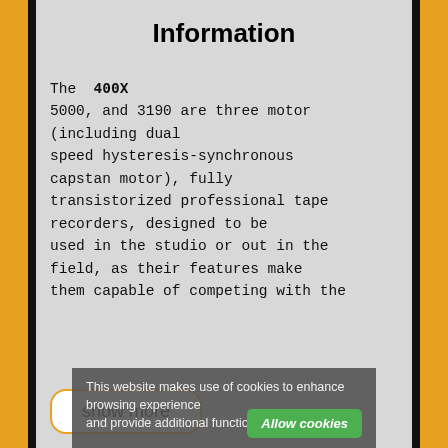Information
The 400X 5000, and 3190 are three motor (including dual speed hysteresis-synchronous capstan motor), fully transistorized professional tape recorders, designed to be used in the studio or out in the field, as their features make them capable of competing with the
show more
This website makes use of cookies to enhance browsing experience and provide additional functionality. Details
Allow cookies